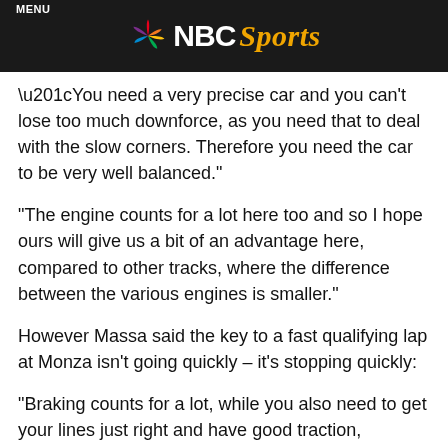NBC Sports
“You need a very precise car and you can’t lose too much downforce, as you need that to deal with the slow corners. Therefore you need the car to be very well balanced.”
“The engine counts for a lot here too and so I hope ours will give us a bit of an advantage here, compared to other tracks, where the difference between the various engines is smaller.”
However Massa said the key to a fast qualifying lap at Monza isn’t going quickly – it’s stopping quickly:
“Braking counts for a lot, while you also need to get your lines just right and have good traction, because if you lose a little time at one corner, because you braked too late or didn’t come out of the turn on the correct line, then you can lose a lot of time down the long straight that